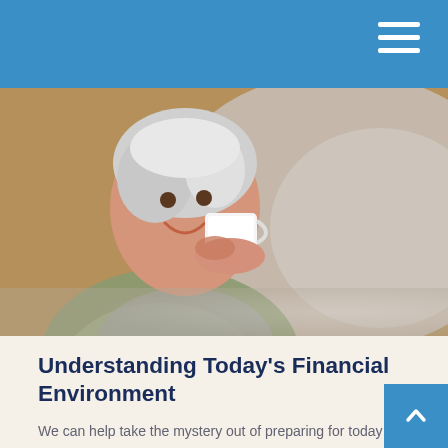[Figure (photo): Smiling older woman with gray hair drinking from a white coffee cup, wearing a green-gray top, bokeh background]
Understanding Today's Financial Environment
We can help take the mystery out of preparing for today and tomorrow. Whether you are investing to build wealth, protect your family, or preserve your assets, our personalized service focuses your needs, wants, and long-term goals.
Our team of professionals have years of experience in